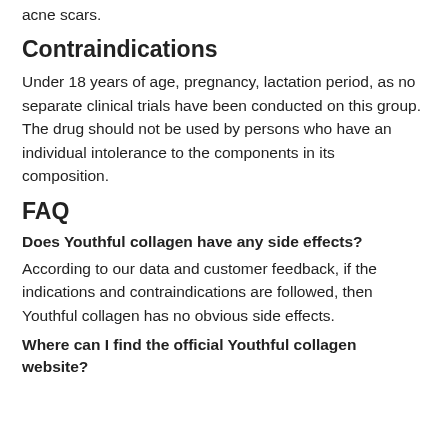acne scars.
Contraindications
Under 18 years of age, pregnancy, lactation period, as no separate clinical trials have been conducted on this group. The drug should not be used by persons who have an individual intolerance to the components in its composition.
FAQ
Does Youthful collagen have any side effects?
According to our data and customer feedback, if the indications and contraindications are followed, then Youthful collagen has no obvious side effects.
Where can I find the official Youthful collagen website?